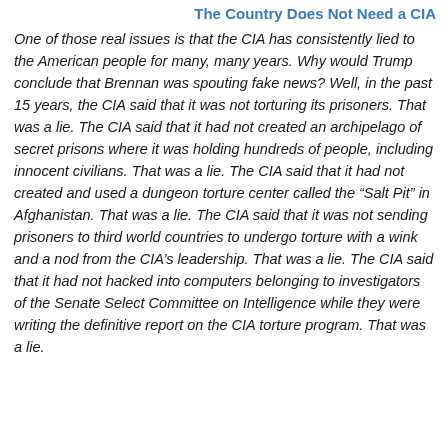The Country Does Not Need a CIA
One of those real issues is that the CIA has consistently lied to the American people for many, many years. Why would Trump conclude that Brennan was spouting fake news? Well, in the past 15 years, the CIA said that it was not torturing its prisoners. That was a lie. The CIA said that it had not created an archipelago of secret prisons where it was holding hundreds of people, including innocent civilians. That was a lie. The CIA said that it had not created and used a dungeon torture center called the “Salt Pit” in Afghanistan. That was a lie. The CIA said that it was not sending prisoners to third world countries to undergo torture with a wink and a nod from the CIA’s leadership. That was a lie. The CIA said that it had not hacked into computers belonging to investigators of the Senate Select Committee on Intelligence while they were writing the definitive report on the CIA torture program. That was a lie.